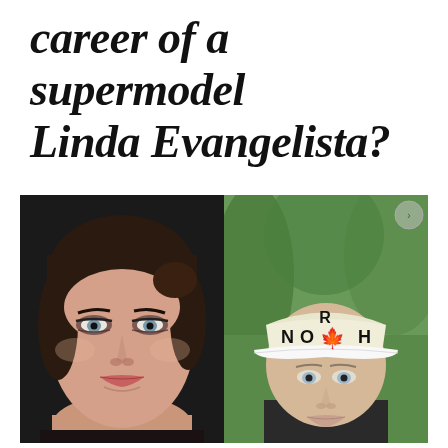career of a supermodel Linda Evangelista?
[Figure (photo): Side-by-side comparison of two photos: on the left, a glamour shot of a woman with dark hair pulled back, dramatic smoky eye makeup, and a subtle smile (Linda Evangelista as a supermodel); on the right, a person wearing a white and tan 'NORTH' cap with a Canadian maple leaf, standing outdoors with green trees in the background, appearing without makeup.]